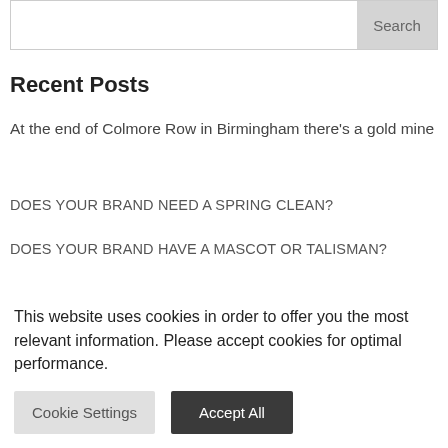Search
Recent Posts
At the end of Colmore Row in Birmingham there's a gold mine
DOES YOUR BRAND NEED A SPRING CLEAN?
DOES YOUR BRAND HAVE A MASCOT OR TALISMAN?
HAS YOUR BRAND LOST ITS FOCUS?
IS YOUR BRAND FULL STEAM AHEAD OR JUST SPINNING?
This website uses cookies in order to offer you the most relevant information. Please accept cookies for optimal performance.
Cookie Settings | Accept All